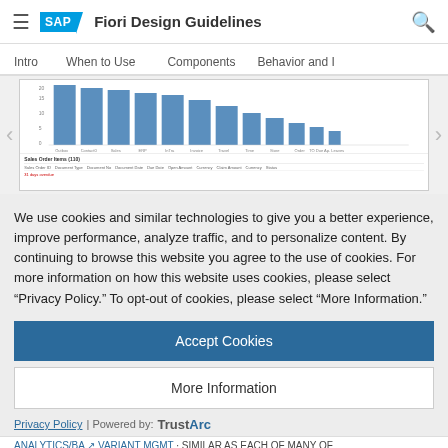SAP Fiori Design Guidelines
Intro  When to Use  Components  Behavior and I
[Figure (screenshot): Screenshot of an SAP Fiori application showing a bar chart with declining bars and a table of Sales Order Items below it]
We use cookies and similar technologies to give you a better experience, improve performance, analyze traffic, and to personalize content. By continuing to browse this website you agree to the use of cookies. For more information on how this website uses cookies, please select “Privacy Policy.” To opt-out of cookies, please select “More Information.”
Accept Cookies
More Information
Privacy Policy | Powered by: TrustArc